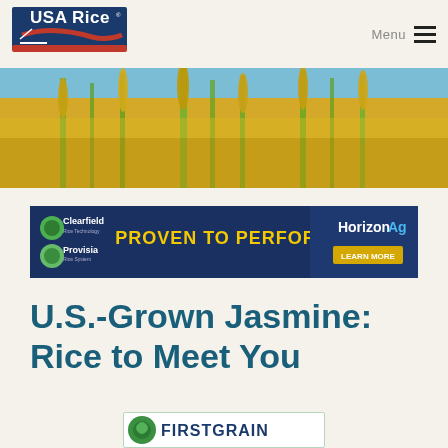USA Rice | Menu
[Figure (photo): Close-up photo of golden rice stalks with grain heads against a blue sky background, serving as a hero banner image]
[Figure (infographic): Advertisement banner: Clearfield and Provisia logos on left, 'PROVEN TO PERFORM' text in gold/yellow center on dark blue background, HorizonAg logo and 'LEARN MORE' button on right]
U.S.-Grown Jasmine: Rice to Meet You
[Figure (logo): Partial view of FIRSTGRAIN logo with green circular icon, shown at bottom of page]